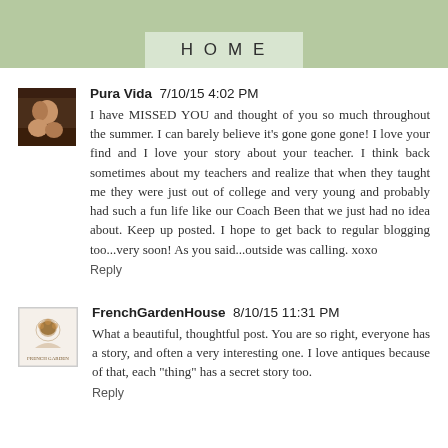HOME
Pura Vida  7/10/15 4:02 PM
I have MISSED YOU and thought of you so much throughout the summer. I can barely believe it's gone gone gone! I love your find and I love your story about your teacher. I think back sometimes about my teachers and realize that when they taught me they were just out of college and very young and probably had such a fun life like our Coach Been that we just had no idea about. Keep up posted. I hope to get back to regular blogging too...very soon! As you said...outside was calling. xoxo
Reply
FrenchGardenHouse  8/10/15 11:31 PM
What a beautiful, thoughtful post. You are so right, everyone has a story, and often a very interesting one. I love antiques because of that, each "thing" has a secret story too.
Reply